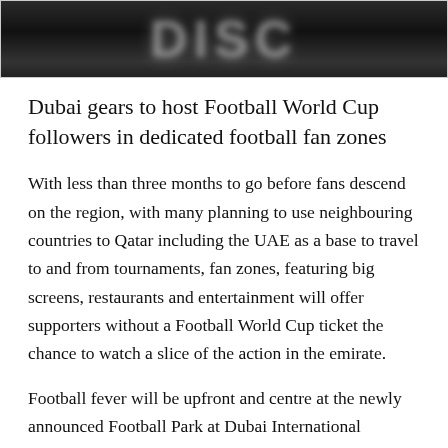[Figure (photo): Dark blurred image with white/grey text partially visible, appearing to be a logo or headline graphic]
Dubai gears to host Football World Cup followers in dedicated football fan zones
With less than three months to go before fans descend on the region, with many planning to use neighbouring countries to Qatar including the UAE as a base to travel to and from tournaments, fan zones, featuring big screens, restaurants and entertainment will offer supporters without a Football World Cup ticket the chance to watch a slice of the action in the emirate.
Football fever will be upfront and centre at the newly announced Football Park at Dubai International Financial Centre (DIFC). The Football Park will...